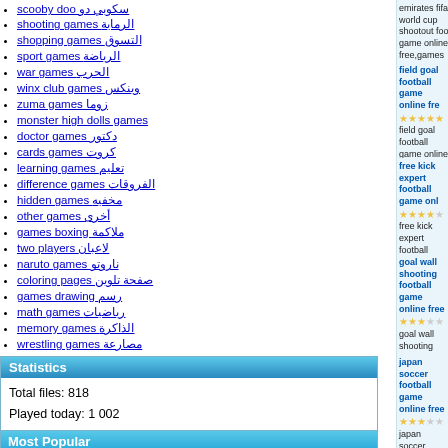scooby doo سكوبي دو
shooting games الرماية
shopping games التسوق
sport games الرياضة
war games الحرب
winx club games وينكس
zuma games زوما
monster high dolls games
doctor games دكتور
cards games كروت
learning games تعليم
difference games الفروقات
hidden games مخفيه
other games أخرى
games boxing ملاكمة
two players لاعبان
naruto games ناروتو
coloring pages صفحة تلوين
games drawing رسم
math games رياضيات
memory games الذاكرة
wrestling games مصارعة
Statistics
Total files: 818
Played today: 1 002
Overall played: 55 045 058
Users online: 177
Most Popular
[Figure (photo): Tom and Jerry cartoon thumbnail]
[Figure (photo): Cartoon character thumbnail]
emirates fifa world cup shootout foo game online free,games for football (Played: 42 044)
field goal football game online free
field goal football game online free,games for football,online games football... (Played: 17 937)
free kick expert football game online
free kick expert football game online,games for football,online gam footbal... (Played: 22 928)
goal wall shooting football game online free
goal wall shooting football game onl free,games for football,online games (Played: 20 538)
japan soccer football game online free
japan soccer football game online free,games for football,online games footba... (Played: 41 174)